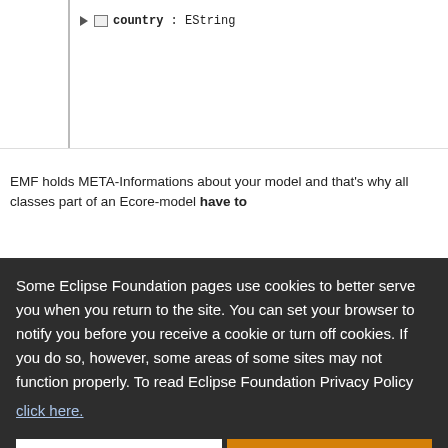[Figure (screenshot): IDE/tree view showing 'country : EString' entry with expand arrow and icon]
EMF holds META-Informations about your model and that's why all classes part of an Ecore-model have to
Some Eclipse Foundation pages use cookies to better serve you when you return to the site. You can set your browser to notify you before you receive a cookie or turn off cookies. If you do so, however, some areas of some sites may not function properly. To read Eclipse Foundation Privacy Policy click here.
Decline
Allow cookies
EMF terminology TODO more information